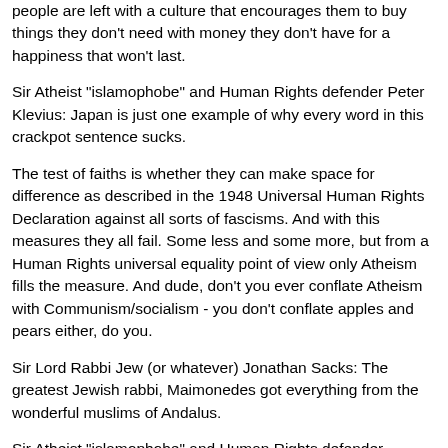people are left with a culture that encourages them to buy things they don't need with money they don't have for a happiness that won't last.
Sir Atheist "islamophobe" and Human Rights defender Peter Klevius: Japan is just one example of why every word in this crackpot sentence sucks.
The test of faiths is whether they can make space for difference as described in the 1948 Universal Human Rights Declaration against all sorts of fascisms. And with this measures they all fail. Some less and some more, but from a Human Rights universal equality point of view only Atheism fills the measure. And dude, don't you ever conflate Atheism with Communism/socialism - you don't conflate apples and pears either, do you.
Sir Lord Rabbi Jew (or whatever) Jonathan Sacks: The greatest Jewish rabbi, Maimonedes got everything from the wonderful muslims of Andalus.
Sir Atheist "islamophobe" and Human Rights defender